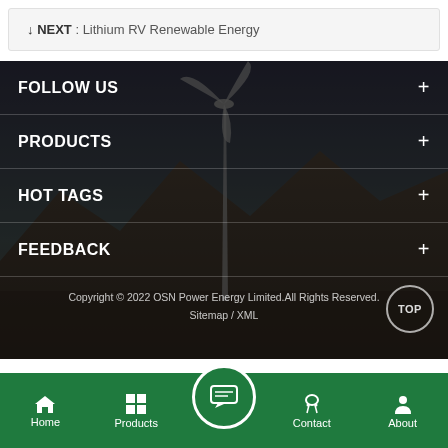↓ NEXT : Lithium RV Renewable Energy
FOLLOW US
PRODUCTS
HOT TAGS
FEEDBACK
Copyright © 2022 OSN Power Energy Limited.All Rights Reserved. Sitemap / XML
Home | Products | Contact | About